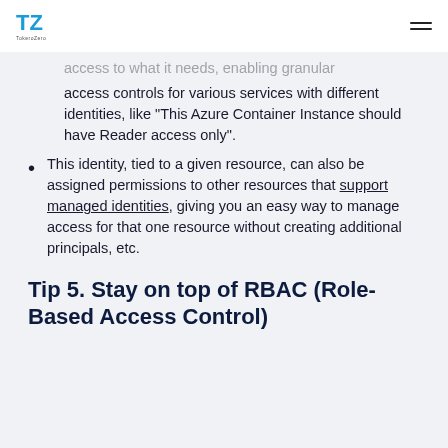TZ TokeroZero logo and hamburger menu
access to what it needs, enabling granular access controls for various services with different identities, like "This Azure Container Instance should have Reader access only".
This identity, tied to a given resource, can also be assigned permissions to other resources that support managed identities, giving you an easy way to manage access for that one resource without creating additional principals, etc.
Tip 5. Stay on top of RBAC (Role-Based Access Control)